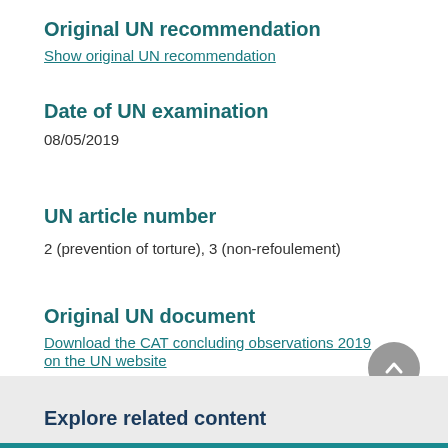Original UN recommendation
Show original UN recommendation
Date of UN examination
08/05/2019
UN article number
2 (prevention of torture), 3 (non-refoulement)
Original UN document
Download the CAT concluding observations 2019 on the UN website
Last updated on 11/09/2019
Explore related content